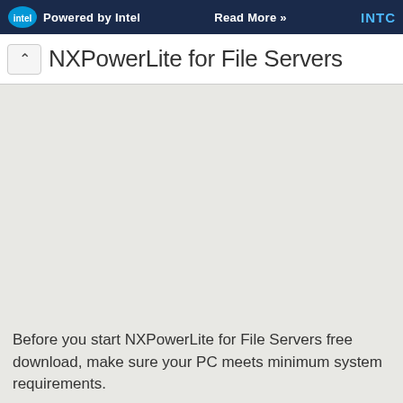Powered by Intel   Read More >>   INTC
NXPowerLite for File Servers
Before you start NXPowerLite for File Servers free download, make sure your PC meets minimum system requirements.